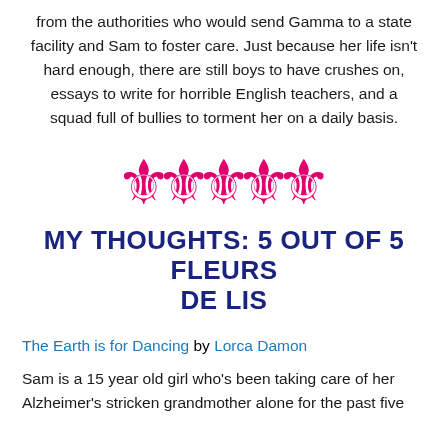from the authorities who would send Gamma to a state facility and Sam to foster care. Just because her life isn't hard enough, there are still boys to have crushes on, essays to write for horrible English teachers, and a squad full of bullies to torment her on a daily basis.
[Figure (illustration): Five hot-pink fleur-de-lis symbols in a row, used as a 5-star rating graphic.]
MY THOUGHTS: 5 OUT OF 5 FLEURS DE LIS
The Earth is for Dancing by Lorca Damon
Sam is a 15 year old girl who's been taking care of her Alzheimer's stricken grandmother alone for the past five